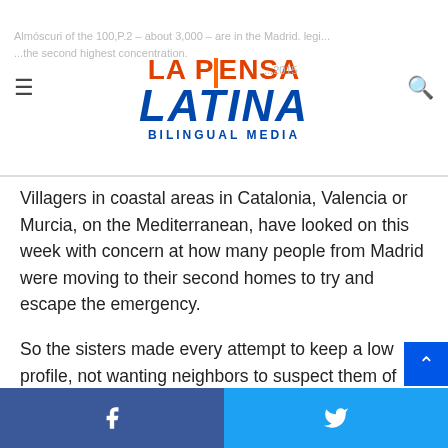La Prensa Latina Bilingual Media
Villagers in coastal areas in Catalonia, Valencia or Murcia, on the Mediterranean, have looked on this week with concern at how many people from Madrid were moving to their second homes to try and escape the emergency.
So the sisters made every attempt to keep a low profile, not wanting neighbors to suspect them of bringing the virus into the community.
Any sign of the slightest cold, common in winter, makes them wonder if this is “It’, and they frantically wash their hands with soap and alcohol all day long, cleaning surfaces with bleach
Facebook | Twitter